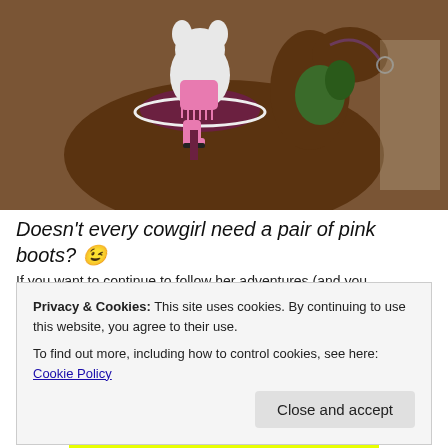[Figure (photo): A stuffed toy dog or animal wearing a pink cowgirl outfit with fringe and pink boots, seated on a large plush brown horse with a saddle and bridle. The horse is in front of a brick wall with a decorative plant/wreath.]
Doesn't every cowgirl need a pair of pink boots? 😉
If you want to continue to follow her adventures (and you
Privacy & Cookies: This site uses cookies. By continuing to use this website, you agree to their use.
To find out more, including how to control cookies, see here: Cookie Policy